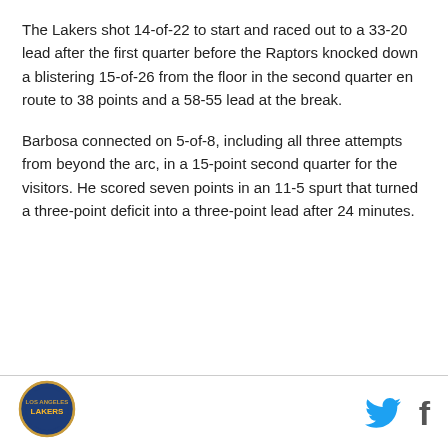The Lakers shot 14-of-22 to start and raced out to a 33-20 lead after the first quarter before the Raptors knocked down a blistering 15-of-26 from the floor in the second quarter en route to 38 points and a 58-55 lead at the break.
Barbosa connected on 5-of-8, including all three attempts from beyond the arc, in a 15-point second quarter for the visitors. He scored seven points in an 11-5 spurt that turned a three-point deficit into a three-point lead after 24 minutes.
[Figure (logo): Los Angeles Lakers circular logo]
[Figure (logo): Twitter bird icon and Facebook f icon]